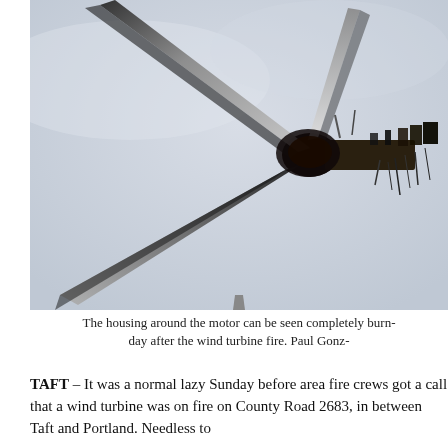[Figure (photo): A wind turbine with fire damage — the housing around the motor is completely burned, and the blades show charring. The turbine is photographed against an overcast sky.]
The housing around the motor can be seen completely burn- day after the wind turbine fire. Paul Gonz-
TAFT – It was a normal lazy Sunday before area fire crews got a call that a wind turbine was on fire on County Road 2683, in between Taft and Portland. Needless to